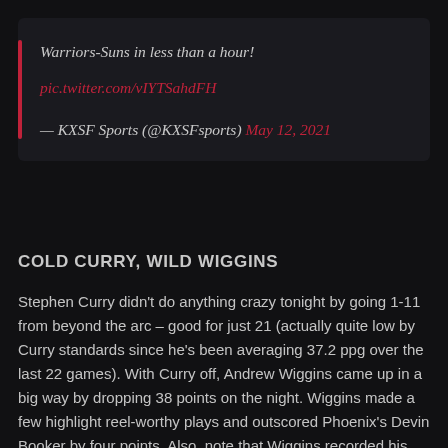Warriors-Suns in less than a hour!
pic.twitter.com/vIYTSahdFH
— KXSF Sports (@KXSFsports) May 12, 2021
COLD CURRY, WILD WIGGINS
Stephen Curry didn't do anything crazy tonight by going 1-11 from beyond the arc – good for just 21 (actually quite low by Curry standards since he's been averaging 37.2 ppg over the last 22 games). With Curry off, Andrew Wiggins came up in a big way by dropping 38 points on the night. Wiggins made a few highlight reel-worthy plays and outscored Phoenix's Devin Booker by four points. Also, note that Wiggins recorded his